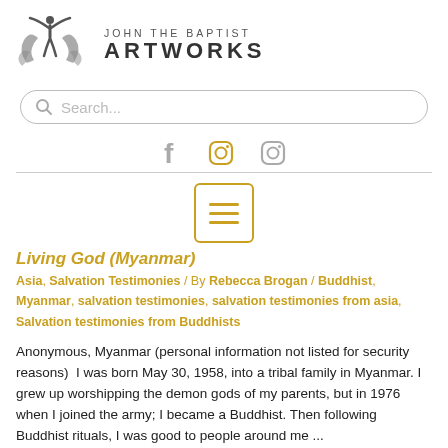[Figure (logo): John the Baptist Artworks logo with a stylized human figure and decorative scrollwork]
[Figure (screenshot): Search bar with rounded rectangle border and magnifying glass icon, placeholder text 'Search...']
[Figure (infographic): Social media icons: Facebook (f), Instagram (circle), Instagram (circle) in gray and gold colors]
[Figure (infographic): Hamburger/menu button icon with three horizontal lines inside a gold rounded square border]
Living God (Myanmar)
Asia, Salvation Testimonies / By Rebecca Brogan / Buddhist, Myanmar, salvation testimonies, salvation testimonies from asia, Salvation testimonies from Buddhists
Anonymous, Myanmar (personal information not listed for security reasons)  I was born May 30, 1958, into a tribal family in Myanmar. I grew up worshipping the demon gods of my parents, but in 1976 when I joined the army; I became a Buddhist. Then following Buddhist rituals, I was good to people around me ...
Read More »